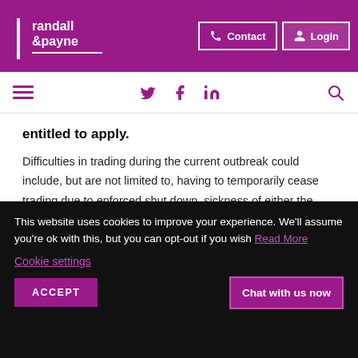randall &payne | Contact | Login
[Figure (screenshot): Website navigation bar with hamburger menu, Twitter, Facebook, LinkedIn social icons, and search icon in purple on white background]
entitled to apply.
Difficulties in trading during the current outbreak could include, but are not limited to, having to temporarily cease trading due to enforced shut down, sickness of either the proprietor or their staff, a requirement to self-isolate, caring responsibilities due to Coronavirus, loss of overseas
This website uses cookies to improve your experience. We'll assume you're ok with this, but you can opt-out if you wish Read More
Cookie settings
ACCEPT
Chat with us now